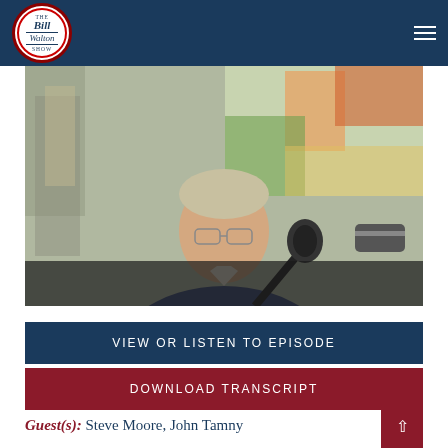The Bill Walton Show
[Figure (photo): A man in a blue blazer seated at a podcast microphone in a studio with colorful artwork in the background]
VIEW OR LISTEN TO EPISODE
DOWNLOAD TRANSCRIPT
Guest(s): Steve Moore, John Tamny